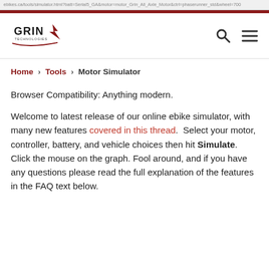https://ebikes.ca/tools/simulator.html?batt=...
[Figure (logo): GRIN Technologies logo with stylized lightning bolt]
Home > Tools > Motor Simulator
Browser Compatibility: Anything modern.
Welcome to latest release of our online ebike simulator, with many new features covered in this thread.  Select your motor, controller, battery, and vehicle choices then hit Simulate. Click the mouse on the graph. Fool around, and if you have any questions please read the full explanation of the features in the FAQ text below.